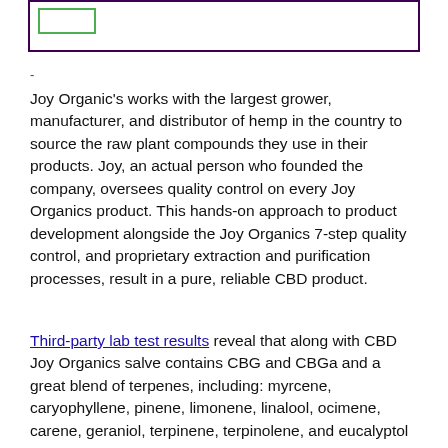[Figure (other): Top portion of a bordered box with a green-outlined inner rectangle element, partially visible at top of page]
-
Joy Organic's works with the largest grower, manufacturer, and distributor of hemp in the country to source the raw plant compounds they use in their products. Joy, an actual person who founded the company, oversees quality control on every Joy Organics product. This hands-on approach to product development alongside the Joy Organics 7-step quality control, and proprietary extraction and purification processes, result in a pure, reliable CBD product.
Third-party lab test results reveal that along with CBD Joy Organics salve contains CBG and CBGa and a great blend of terpenes, including: myrcene, caryophyllene, pinene, limonene, linalool, ocimene, carene, geraniol, terpinene, terpinolene, and eucalyptol